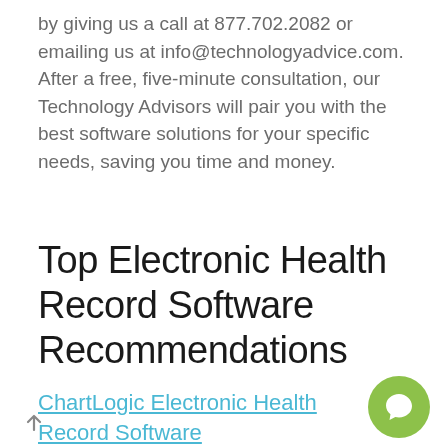by giving us a call at 877.702.2082 or emailing us at info@technologyadvice.com. After a free, five-minute consultation, our Technology Advisors will pair you with the best software solutions for your specific needs, saving you time and money.
Top Electronic Health Record Software Recommendations
ChartLogic Electronic Health Record Software